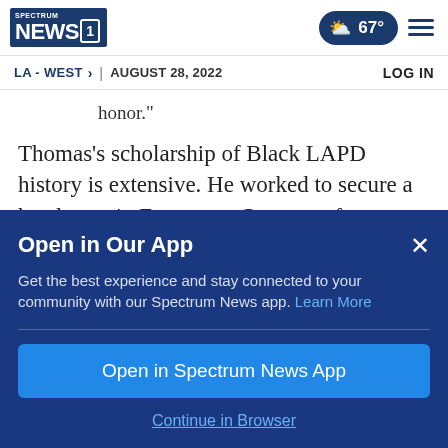Spectrum NEWS1 | LA - WEST > | AUGUST 28, 2022 | LOG IN | 67°
honor."
Thomas's scholarship of Black LAPD history is extensive. He worked to secure a headstone in Evergreen Cemetery for Charles P. Williams, the first Black LAPD officer killed in the line of duty,
Open in Our App
Get the best experience and stay connected to your community with our Spectrum News app. Learn More
Open in Spectrum News App
Continue in Browser